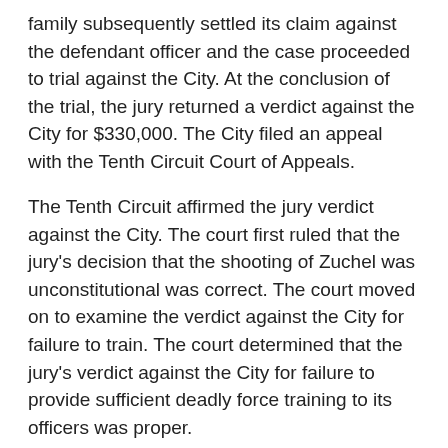family subsequently settled its claim against the defendant officer and the case proceeded to trial against the City. At the conclusion of the trial, the jury returned a verdict against the City for $330,000. The City filed an appeal with the Tenth Circuit Court of Appeals.
The Tenth Circuit affirmed the jury verdict against the City. The court first ruled that the jury's decision that the shooting of Zuchel was unconstitutional was correct. The court moved on to examine the verdict against the City for failure to train. The court determined that the jury's verdict against the City for failure to provide sufficient deadly force training to its officers was proper.
The court reviewed the content of the letter sent by the District Attorney to the Denver Police Chief concerning six police shootings that occurred in a six-week period from the beginning of January 1983. The court also examined testimony from Zuchel's expert witness (a